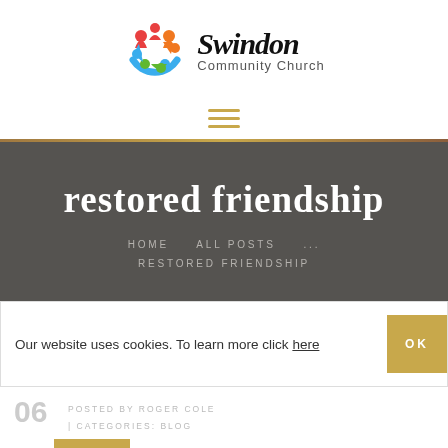[Figure (logo): Swindon Community Church logo with colorful circular icon and text]
[Figure (other): Hamburger menu icon with three horizontal orange/gold bars]
restored friendship
HOME   ALL POSTS   ...   RESTORED FRIENDSHIP
Our website uses cookies. To learn more click here
POSTED BY ROGER COLE | CATEGORIES: BLOG
06